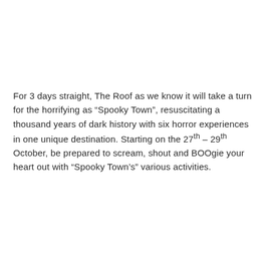For 3 days straight, The Roof as we know it will take a turn for the horrifying as “Spooky Town”, resuscitating a thousand years of dark history with six horror experiences in one unique destination. Starting on the 27th – 29th October, be prepared to scream, shout and BOOgie your heart out with “Spooky Town’s” various activities.